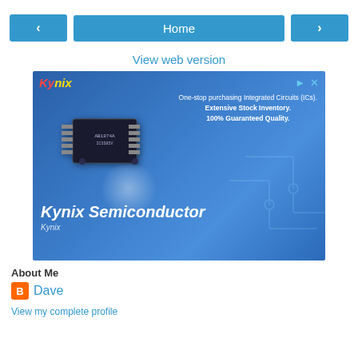[Figure (screenshot): Navigation bar with left arrow button, Home button (blue), and right arrow button]
View web version
[Figure (advertisement): Kynix Semiconductor advertisement showing an IC chip on blue background with circuit lines. Text: One-stop purchasing Integrated Circuits (ICs). Extensive Stock Inventory. 100% Guaranteed Quality. Kynix Semiconductor. Kynix.]
About Me
Dave
View my complete profile